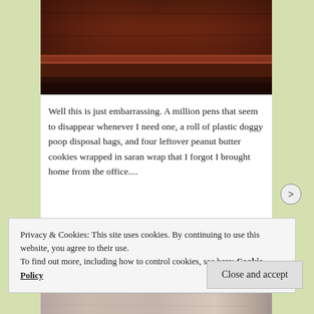[Figure (photo): Close-up photograph of dark reddish-brown wooden surface or furniture, showing grain and edge detail.]
Well this is just embarrassing. A million pens that seem to disappear whenever I need one, a roll of plastic doggy poop disposal bags, and four leftover peanut butter cookies wrapped in saran wrap that I forgot I brought home from the office....
[Figure (photo): Partial view of another photograph, blurred/cropped at bottom of page.]
Privacy & Cookies: This site uses cookies. By continuing to use this website, you agree to their use.
To find out more, including how to control cookies, see here: Cookie Policy